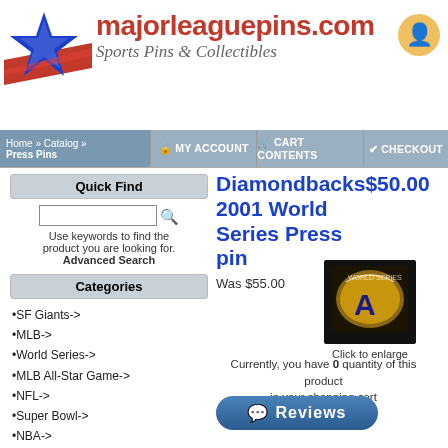majorleaguepins.com Sports Pins & Collectibles
Home » Catalog » Press Pins | MY ACCOUNT | CART CONTENTS | CHECKOUT
Quick Find
Use keywords to find the product you are looking for. Advanced Search
Categories
•SF Giants->
•MLB->
•World Series->
•MLB All-Star Game->
•NFL->
•Super Bowl->
•NBA->
•WNBA
•NHL->
•Player Pins->
•50% Off
•World Baseball Classic
Diamondbacks$50.00 2001 World Series Press pin
Was $55.00
[Figure (photo): Photo of a Diamondbacks 2001 World Series Press pin on dark background]
Click to enlarge
Currently, you have 0 quantity of this product in your shopping cart
Reviews